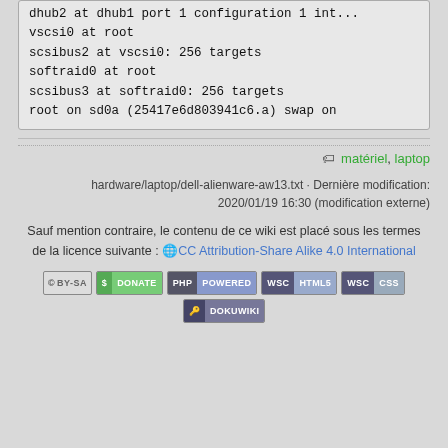dhub2 at dhub1 port 1 configuration 1 int...
vscsi0 at root
scsibus2 at vscsi0: 256 targets
softraid0 at root
scsibus3 at softraid0: 256 targets
root on sd0a (25417e6d803941c6.a) swap on
matériel, laptop
hardware/laptop/dell-alienware-aw13.txt · Dernière modification: 2020/01/19 16:30 (modification externe)
Sauf mention contraire, le contenu de ce wiki est placé sous les termes de la licence suivante : CC Attribution-Share Alike 4.0 International
[Figure (other): Badges: CC BY-SA, DONATE, PHP POWERED, WSC HTML5, WSC CSS, DOKUWIKI]